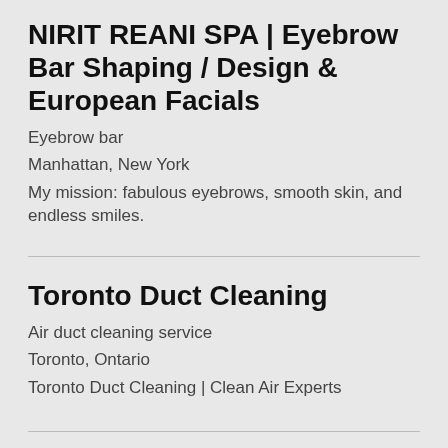NIRIT REANI SPA | Eyebrow Bar Shaping / Design & European Facials
Eyebrow bar
Manhattan, New York
My mission: fabulous eyebrows, smooth skin, and endless smiles.
Toronto Duct Cleaning
Air duct cleaning service
Toronto, Ontario
Toronto Duct Cleaning | Clean Air Experts